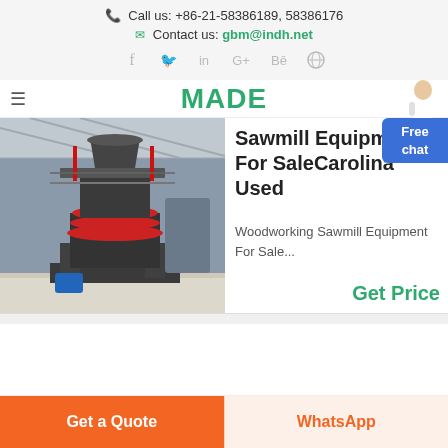Call us: +86-21-58386189, 58386176
Contact us: gbm@indh.net
[Figure (infographic): Social media icons: Facebook, Twitter, LinkedIn, Google+, Behance, Dribbble]
[Figure (logo): MADE logo in green bold text with hamburger menu icon and assistant character]
[Figure (photo): Large industrial machine (vertical shaft impact crusher) in a factory/warehouse setting]
Sawmill Equipment For SaleCarolina Used
Woodworking Sawmill Equipment For Sale...
Get Price
Get a Quote
WhatsApp